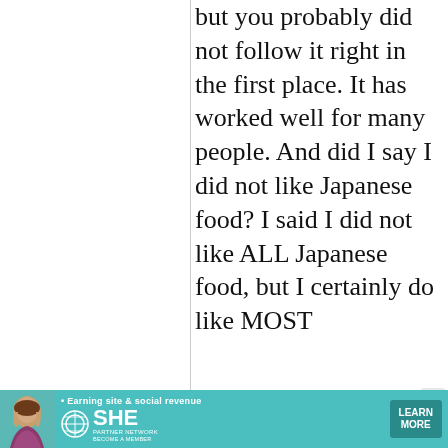but you probably did not follow it right in the first place. It has worked well for many people. And did I say I did not like Japanese food? I said I did not like ALL Japanese food, but I certainly do like MOST
[Figure (other): Advertisement banner for SHE Partner Network with tagline 'Earning site & social revenue', featuring a woman's photo, SHE logo, and a teal 'LEARN MORE' button.]